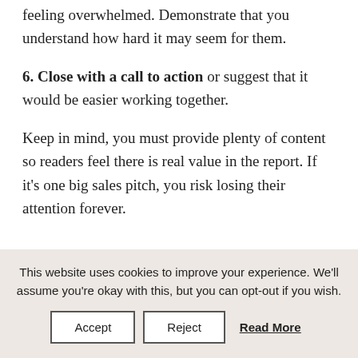feeling overwhelmed. Demonstrate that you understand how hard it may seem for them.
6. Close with a call to action or suggest that it would be easier working together.
Keep in mind, you must provide plenty of content so readers feel there is real value in the report. If it's one big sales pitch, you risk losing their attention forever.
This website uses cookies to improve your experience. We'll assume you're okay with this, but you can opt-out if you wish.